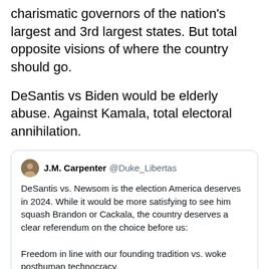charismatic governors of the nation's largest and 3rd largest states. But total opposite visions of where the country should go.
DeSantis vs Biden would be elderly abuse. Against Kamala, total electoral annihilation.
[Figure (screenshot): Embedded tweet from J.M. Carpenter @Duke_Libertas: DeSantis vs. Newsom is the election America deserves in 2024. While it would be more satisfying to see him squash Brandon or Cackala, the country deserves a clear referendum on the choice before us: Freedom in line with our founding tradition vs. woke posthuman technocracy.]
6:24 PM · Jun 5, 2022